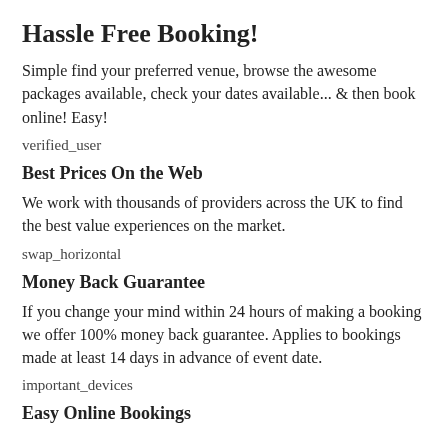Hassle Free Booking!
Simple find your preferred venue, browse the awesome packages available, check your dates available... & then book online! Easy!
verified_user
Best Prices On the Web
We work with thousands of providers across the UK to find the best value experiences on the market.
swap_horizontal
Money Back Guarantee
If you change your mind within 24 hours of making a booking we offer 100% money back guarantee. Applies to bookings made at least 14 days in advance of event date.
important_devices
Easy Online Bookings